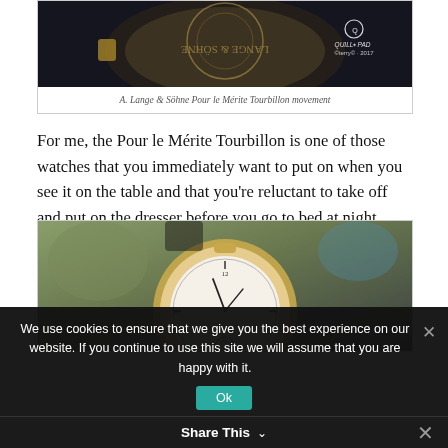[Figure (photo): Close-up photograph of the back of an A. Lange & Söhne Pour le Mérite Tourbillon watch movement, showing gold movement details on dark background. Quill&Pad watermark visible in lower right.]
A. Lange & Söhne Pour le Mérite Tourbillon movement
For me, the Pour le Mérite Tourbillon is one of those watches that you immediately want to put on when you see it on the table and that you're reluctant to take off and put on the dresser before you go to bed at night.
[Figure (photo): Photograph of an A. Lange & Söhne Pour le Mérite Tourbillon watch dial side, showing white dial with tourbillon, gold case, on a workbench with blurred background.]
We use cookies to ensure that we give you the best experience on our website. If you continue to use this site we will assume that you are happy with it.
Share This